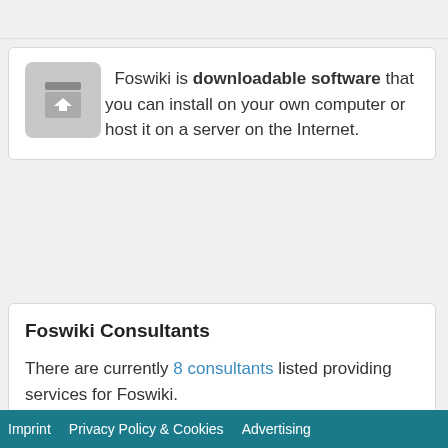Foswiki is downloadable software that you can install on your own computer or host it on a server on the Internet.
Foswiki Consultants
There are currently 8 consultants listed providing services for Foswiki.
Imprint   Privacy Policy & Cookies   Advertising